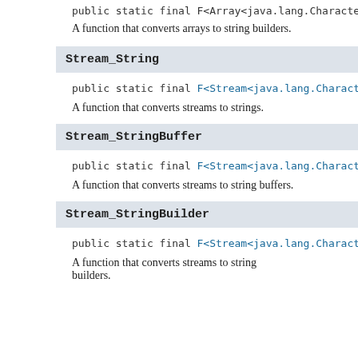public static final F<Array<java.lang.Character>,
A function that converts arrays to string builders.
Stream_String
public static final F<Stream<java.lang.Character>
A function that converts streams to strings.
Stream_StringBuffer
public static final F<Stream<java.lang.Character>
A function that converts streams to string buffers.
Stream_StringBuilder
public static final F<Stream<java.lang.Character>
A function that converts streams to string builders.